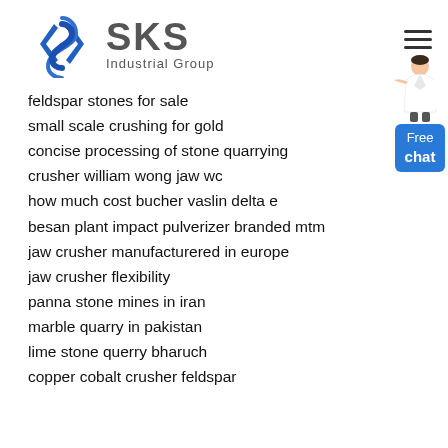[Figure (logo): SKS Industrial Group logo with blue angular diamond/arrow icon and gray SKS text with 'Industrial Group' subtitle]
feldspar stones for sale
small scale crushing for gold
concise processing of stone quarrying
crusher william wong jaw wc
how much cost bucher vaslin delta e
besan plant impact pulverizer branded mtm
jaw crusher manufacturered in europe
jaw crusher flexibility
panna stone mines in iran
marble quarry in pakistan
lime stone querry bharuch
copper cobalt crusher feldspar
[Figure (illustration): Woman in white blazer pointing, with a blue 'Free chat' button below her]